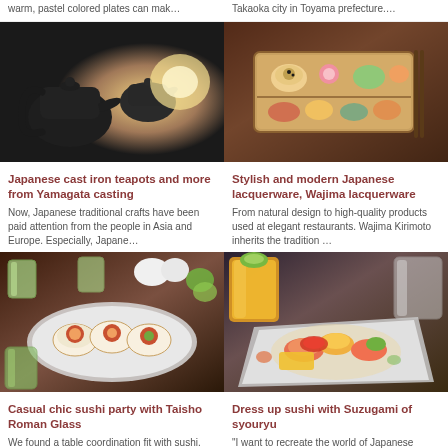warm, pastel colored plates can mak…
Takaoka city in Toyama prefecture….
[Figure (photo): Dark cast iron teapots against warm glowing light background]
[Figure (photo): Wooden bento box with colorful Japanese food items and chopsticks on dark background]
Japanese cast iron teapots and more from Yamagata casting
Stylish and modern Japanese lacquerware, Wajima lacquerware
Now, Japanese traditional crafts have been paid attention from the people in Asia and Europe. Especially, Japane…
From natural design to high-quality products used at elegant restaurants. Wajima Kirimoto inherits the tradition …
[Figure (photo): Sushi rolls on a silver plate with green striped glass cups on dark table]
[Figure (photo): Sushi dish with seafood on decorative silver plate with orange juice and glasses]
Casual chic sushi party with Taisho Roman Glass
Dress up sushi with Suzugami of syouryu
We found a table coordination fit with sushi. How about enjoying stylish sushi party with Suzugami and Taisho…
"I want to recreate the world of Japanese design store at home." We made a set of tableware in response…